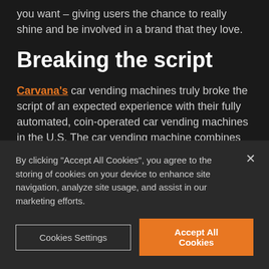you want – giving users the chance to really shine and be involved in a brand that they love.
Breaking the script
Carvana's car vending machines truly broke the script of an expected experience with their fully automated, coin-operated car vending machines in the U.S. The car vending machine combines technology, robotics and a custom-made glass environment. It allows customers to pick up the car they have purchased by entering their name
By clicking "Accept All Cookies", you agree to the storing of cookies on your device to enhance site navigation, analyze site usage, and assist in our marketing efforts.
Cookies Settings
Accept All Cookies